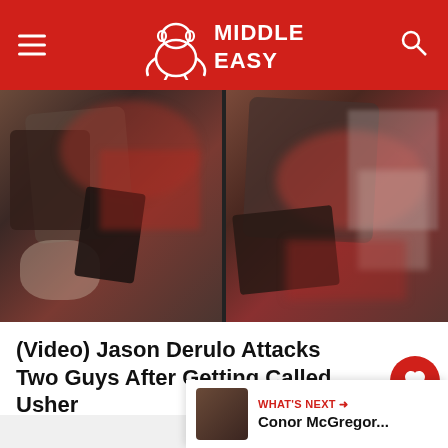MIDDLE EASY
[Figure (photo): Two-panel video thumbnail showing a physical altercation, blurry footage with red clothing and figures grappling.]
(Video) Jason Derulo Attacks Two Guys After Getting Called Usher
[Figure (other): Like button (heart icon, red circle) with count 47, and a share button below.]
[Figure (other): What's Next panel with thumbnail and text: Conor McGregor...]